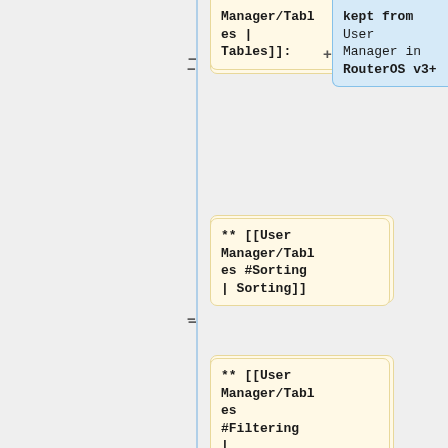[Figure (flowchart): A flowchart/wiki navigation diagram showing nodes with wiki links: Manager/Tables | Tables]], ** [[User Manager/Tables #Sorting | Sorting]], ** [[User Manager/Tables #Filtering | Filtering]], ** [[User Manager/Tables #Division in pages | Division in, and a blue node with 'kept from User Manager in RouterOS v3+'. Connected by minus and plus symbols on vertical line.]